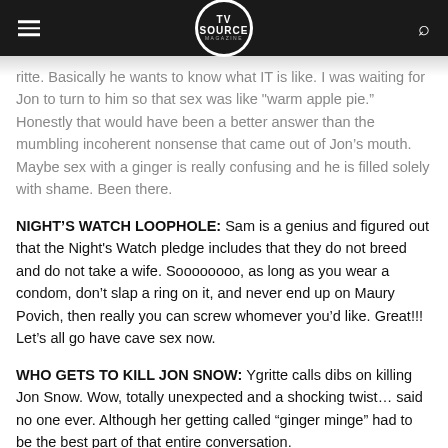TV Source Magazine
apple pie.” Honestly that would have been a better answer than the mumbling incoherent nonsense that came out of Jon’s mouth. Maybe sex with a ginger is really confusing and he is filled solely with shame. Been there.
NIGHT’S WATCH LOOPHOLE: Sam is a genius and figured out that the Night's Watch pledge includes that they do not breed and do not take a wife. Soooooooo, as long as you wear a condom, don’t slap a ring on it, and never end up on Maury Povich, then really you can screw whomever you’d like. Great!!! Let’s all go have cave sex now.
WHO GETS TO KILL JON SNOW: Ygritte calls dibs on killing Jon Snow. Wow, totally unexpected and a shocking twist… said no one ever. Although her getting called “ginger minge” had to be the best part of that entire conversation.